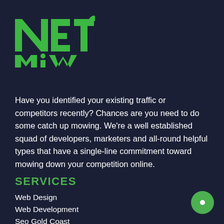[Figure (logo): NET MiW logo in green block letters with grass/plant graphic element]
Have you identified your existing traffic or competitors recently? Chances are you need to do some catch up mowing. We're a well established squad of developers, marketers and all-round helpful types that have a single-line commitment toward mowing down your competition online.
SERVICES
Web Design
Web Development
Seo Gold Coast